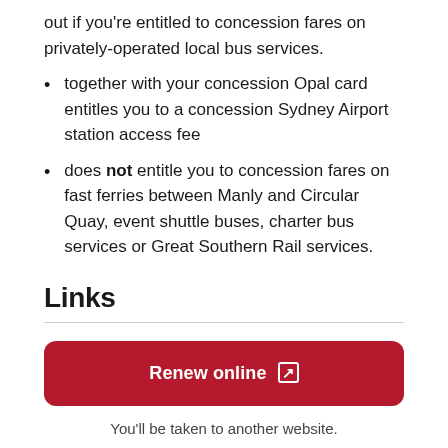out if you're entitled to concession fares on privately-operated local bus services.
together with your concession Opal card entitles you to a concession Sydney Airport station access fee
does not entitle you to concession fares on fast ferries between Manly and Circular Quay, event shuttle buses, charter bus services or Great Southern Rail services.
Links
[Figure (other): Red rounded rectangle button labeled 'Renew online' with external link icon]
You'll be taken to another website.